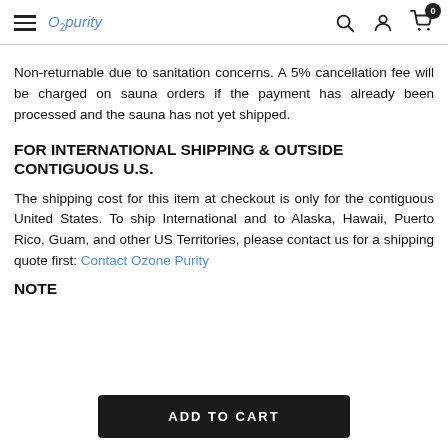O2purity — navigation header with hamburger menu, logo, search, account, and cart icons
Non-returnable due to sanitation concerns. A 5% cancellation fee will be charged on sauna orders if the payment has already been processed and the sauna has not yet shipped.
FOR INTERNATIONAL SHIPPING & OUTSIDE CONTIGUOUS U.S.
The shipping cost for this item at checkout is only for the contiguous United States. To ship International and to Alaska, Hawaii, Puerto Rico, Guam, and other US Territories, please contact us for a shipping quote first: Contact Ozone Purity
NOTE